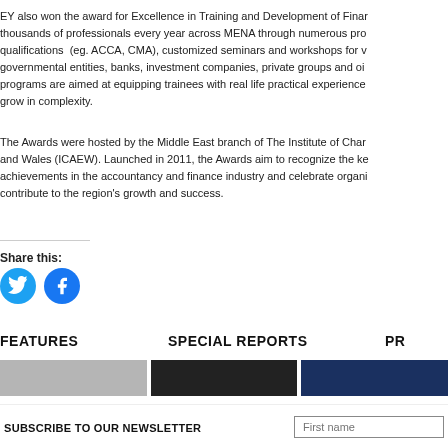EY also won the award for Excellence in Training and Development of Fina... thousands of professionals every year across MENA through numerous pro... qualifications (eg. ACCA, CMA), customized seminars and workshops for v... governmental entities, banks, investment companies, private groups and oi... programs are aimed at equipping trainees with real life practical experience... grow in complexity.
The Awards were hosted by the Middle East branch of The Institute of Char... and Wales (ICAEW). Launched in 2011, the Awards aim to recognize the ke... achievements in the accountancy and finance industry and celebrate organi... contribute to the region's growth and success.
Share this:
[Figure (illustration): Twitter and Facebook circular social sharing buttons in blue]
FEATURES
SPECIAL REPORTS
PR
[Figure (photo): Three images side by side: gray image, black and white image, dark blue image]
SUBSCRIBE TO OUR NEWSLETTER
First name